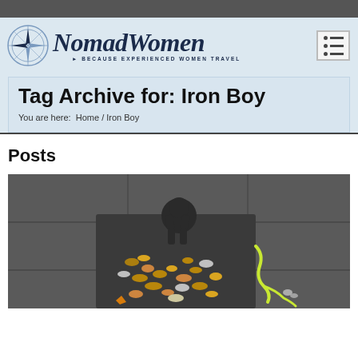[Figure (logo): NomadWomen logo with compass rose, stylized text 'NomadWomen' and tagline 'Because Experienced Women Travel']
Tag Archive for: Iron Boy
You are here:  Home / Iron Boy
Posts
[Figure (photo): Photo of the Iron Boy statue with many coins scattered around its base on a stone floor, with a yellow rope visible]